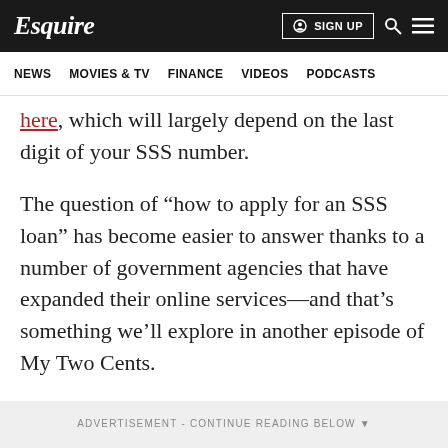Esquire | SIGN UP
NEWS   MOVIES & TV   FINANCE   VIDEOS   PODCASTS
here, which will largely depend on the last digit of your SSS number.
The question of “how to apply for an SSS loan” has become easier to answer thanks to a number of government agencies that have expanded their online services—and that’s something we’ll explore in another episode of My Two Cents.
ADVERTISEMENT - CONTINUE READING BELOW